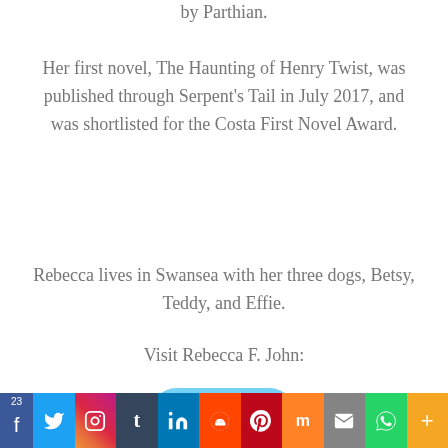by Parthian.
Her first novel, The Haunting of Henry Twist, was published through Serpent's Tail in July 2017, and was shortlisted for the Costa First Novel Award.
Rebecca lives in Swansea with her three dogs, Betsy, Teddy, and Effie.
Visit Rebecca F. John:
[Figure (logo): Twitter bird logo icon — light blue rounded square with white bird silhouette]
[Figure (infographic): Social media share bar with buttons: Facebook (23), Twitter, Instagram, Tumblr, LinkedIn, Reddit, Pinterest, Mix, Email, WhatsApp, More]